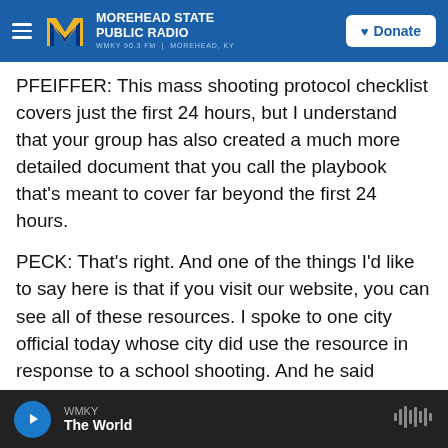MOREHEAD STATE PUBLIC RADIO - WMKY 90.3 FM | MOREHEAD, KY
PFEIFFER: This mass shooting protocol checklist covers just the first 24 hours, but I understand that your group has also created a much more detailed document that you call the playbook that's meant to cover far beyond the first 24 hours.
PECK: That's right. And one of the things I'd like to say here is that if you visit our website, you can see all of these resources. I spoke to one city official today whose city did use the resource in response to a school shooting. And he said everywhere they went, to the emergency operations center and to city hall, people had printed off the playbook, and
WMKY - The World